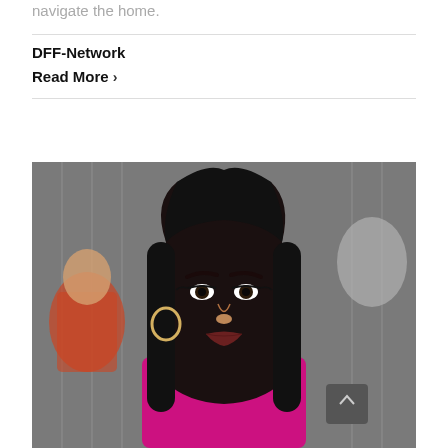navigate the home.
DFF-Network
Read More ›
[Figure (photo): A young woman with long dark hair, hoop earrings, and a pink hoodie stands in front of a mural depicting another woman. She is wearing eyeliner and a delicate necklace. The mural background shows a woman in a red and orange outfit, and another face is visible on the right side.]